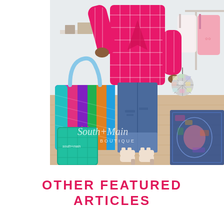[Figure (photo): A woman in a bright pink plaid blazer and distressed jeans holds a disco ball purse, standing on a light wood floor. A colorful woven tote bag sits beside her. A blue patterned rug is to the right. Clothes hang in the background. A watermark reads 'South+Main BOUTIQUE'.]
OTHER FEATURED ARTICLES